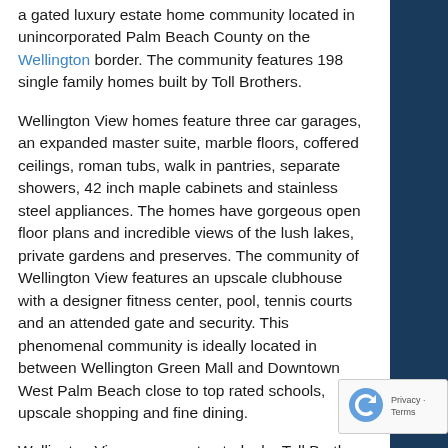a gated luxury estate home community located in unincorporated Palm Beach County on the Wellington border. The community features 198 single family homes built by Toll Brothers.
Wellington View homes feature three car garages, an expanded master suite, marble floors, coffered ceilings, roman tubs, walk in pantries, separate showers, 42 inch maple cabinets and stainless steel appliances. The homes have gorgeous open floor plans and incredible views of the lush lakes, private gardens and preserves. The community of Wellington View features an upscale clubhouse with a designer fitness center, pool, tennis courts and an attended gate and security. This phenomenal community is ideally located in between Wellington Green Mall and Downtown West Palm Beach close to top rated schools, upscale shopping and fine dining.
Wellington View was constructed   by Toll Brothers in 2005. There are currently 5 different floor plans you can choose from ranging from 4 to 6 bedrooms 2700 square feet up to 4700 square feet. These floor plans are very open and